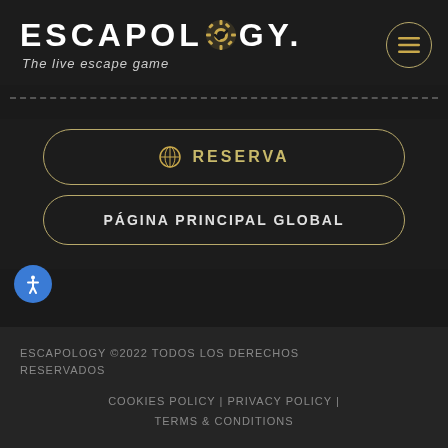[Figure (logo): Escapology logo with gear icon integrated into the O, white uppercase letters on dark background, tagline 'The live escape game' below]
RESERVA
PÁGINA PRINCIPAL GLOBAL
ESCAPOLOGY ©2022 TODOS LOS DERECHOS RESERVADOS
COOKIES POLICY | PRIVACY POLICY | TERMS & CONDITIONS